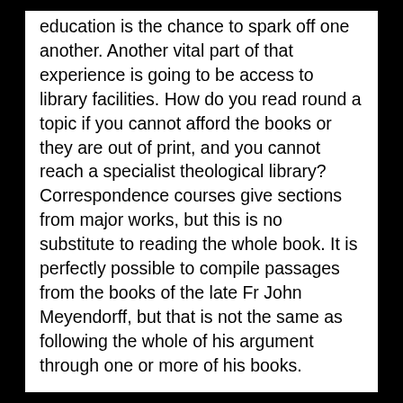education is the chance to spark off one another. Another vital part of that experience is going to be access to library facilities. How do you read round a topic if you cannot afford the books or they are out of print, and you cannot reach a specialist theological library?   Correspondence courses give sections from major works, but this is no substitute to reading the whole book. It is perfectly possible to compile passages from the books of the late Fr John Meyendorff, but that is not the same as following the whole of his argument through one or more of his books.
I have mentioned the “mixed economy” of residential and nonresidential education. One